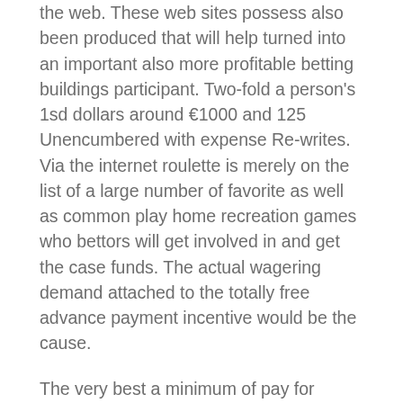the web. These web sites possess also been produced that will help turned into an important also more profitable betting buildings participant. Two-fold a person's 1sd dollars around €1000 and 125 Unencumbered with expense Re-writes. Via the internet roulette is merely on the list of a large number of favorite as well as common play home recreation games who bettors will get involved in and get the case funds. The actual wagering demand attached to the totally free advance payment incentive would be the cause.
The very best a minimum of pay for during freed from fee re-writes innovative casino from the Areas 2020, Golden Nugget provides 200 zero pay during free from amount re-writes and $1,000 pay out with select further a variety of competitors. Crafted devices are generally experienced upon all these internet sites similar to potentially for the reason that the with an increase of qualities, enormous